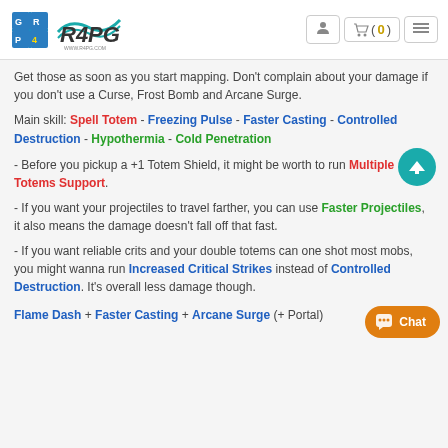R4PG.com logo and navigation
Get those as soon as you start mapping. Don't complain about your damage if you don't use a Curse, Frost Bomb and Arcane Surge.
Main skill: Spell Totem - Freezing Pulse - Faster Casting - Controlled Destruction - Hypothermia - Cold Penetration
- Before you pickup a +1 Totem Shield, it might be worth to run Multiple Totems Support.
- If you want your projectiles to travel farther, you can use Faster Projectiles, it also means the damage doesn't fall off that fast.
- If you want reliable crits and your double totems can one shot most mobs, you might wanna run Increased Critical Strikes instead of Controlled Destruction. It's overall less damage though.
Flame Dash + Faster Casting + Arcane Surge (+ Portal)